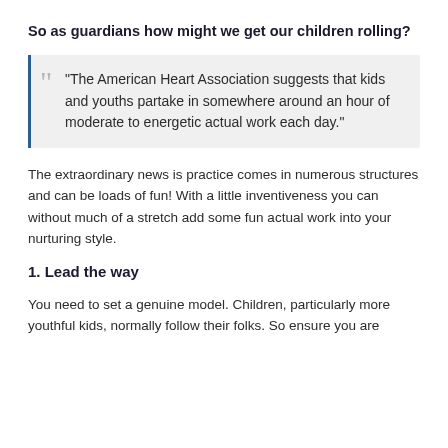So as guardians how might we get our children rolling?
"The American Heart Association suggests that kids and youths partake in somewhere around an hour of moderate to energetic actual work each day."
The extraordinary news is practice comes in numerous structures and can be loads of fun! With a little inventiveness you can without much of a stretch add some fun actual work into your nurturing style.
1. Lead the way
You need to set a genuine model. Children, particularly more youthful kids, normally follow their folks. So ensure you are